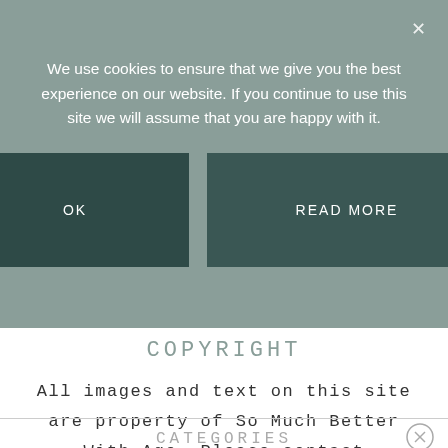We use cookies to ensure that we give you the best experience on our website. If you continue to use this site we will assume that you are happy with it.
OK
READ MORE
COPYRIGHT
All images and text on this site are property of So Much Better With Age. Please contact jamie@somuchbetterwithage.com to ask for all photo requests. Copyright 2010-2022
PRIVACY POLICY
CATEGORIES